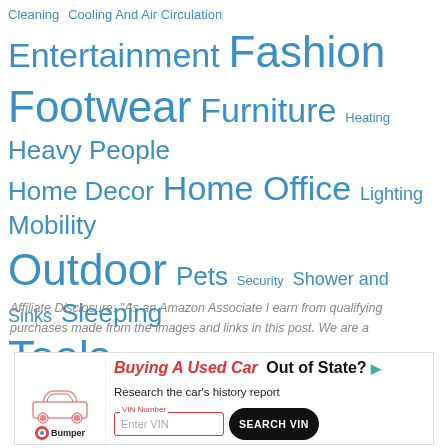Cleaning Cooling And Air Circulation Entertainment Fashion Footwear Furniture Heating Heavy People Home Decor Home Office Lighting Mobility Outdoor Pets Security Shower and Sinks Sleeping Tools
Affiliate Disclosure: "As an Amazon Associate I earn from qualifying purchases made from the images and links in this post. We are a
[Figure (other): Advertisement banner for Bumper: 'Buying A Used Car Out of State? Research the car's history report. VIN Number input field with SEARCH VIN button. Bumper logo with car illustration.']